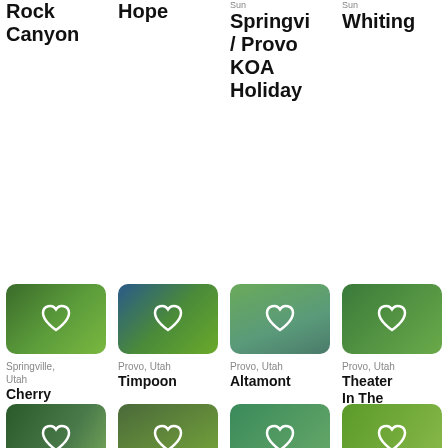Rock Canyon
Hope
Springvi / Provo KOA Holiday
Whiting
[Figure (photo): Green forest trail photo with heart icon]
Springville, Utah
Cherry
[Figure (photo): Mountain and trees photo with heart icon]
Provo, Utah
Timpoon
[Figure (photo): Park picnic shelter photo with heart icon]
Provo, Utah
Altamont
[Figure (photo): Forest picnic area photo with heart icon]
Provo, Utah
Theater In The Pines
[Figure (photo): Forest path photo with heart icon]
Provo, Utah
[Figure (photo): Park with hammock photo with heart icon]
Springville
[Figure (photo): Trail entrance photo with heart icon]
Provo, Utah
[Figure (photo): Open meadow photo with heart icon]
Provo, Utah